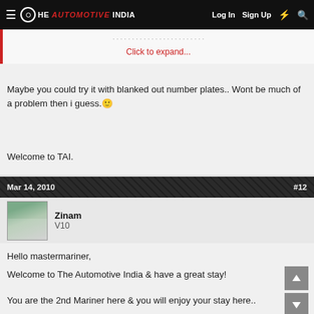The Automotive India — Log In  Sign Up
Click to expand...
Maybe you could try it with blanked out number plates.. Wont be much of a problem then i guess. 🙂
Welcome to TAI.
Mar 14, 2010   #12
Zinam
V10
Hello mastermariner,
Welcome to The Automotive India & have a great stay!
You are the 2nd Mariner here & you will enjoy your stay here..